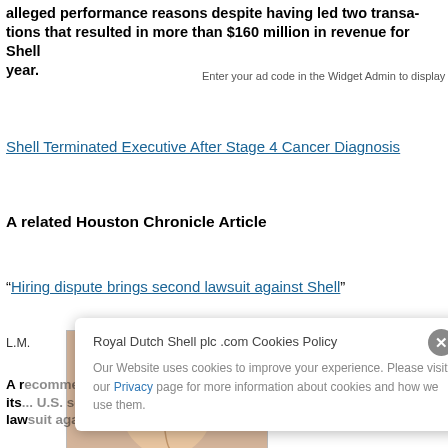alleged performance reasons despite having led two transactions that resulted in more than $160 million in revenue for Shell year.
Enter your ad code in the Widget Admin to display your ads here
Shell Terminated Executive After Stage 4 Cancer Diagnosis
A related Houston Chronicle Article
“Hiring dispute brings second lawsuit against Shell”
[Figure (photo): Headshot photo of a woman with short brown hair, glasses, and a blue shirt/jacket]
L.M.
A... its... U.S. security has led to another discrimini- lawsuit against the company, a subsidiary of the internatio-
Royal Dutch Shell plc .com Cookies Policy
Our Website uses cookies to improve your experience. Please visit our Privacy page for more information about cookies and how we use them.